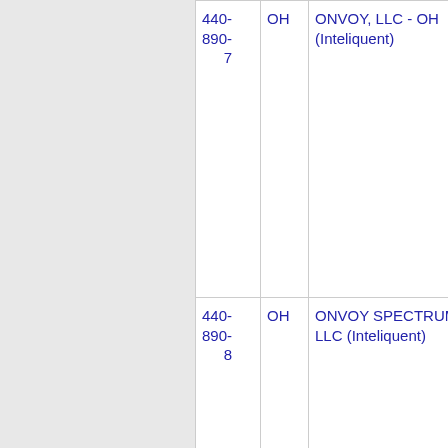| Number | State | Carrier | Code |
| --- | --- | --- | --- |
| 440-890-7 | OH | ONVOY, LLC - OH (Inteliquent) | 46 |
| 440-890-8 | OH | ONVOY SPECTRUM, LLC (Inteliquent) | 62 |